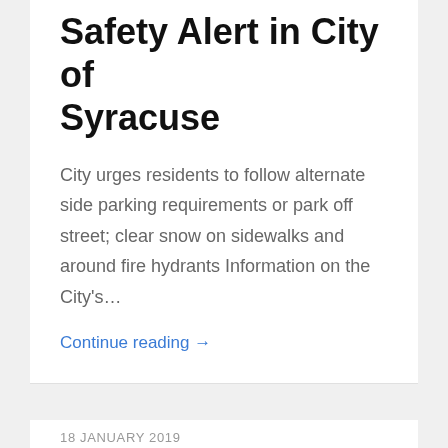Safety Alert in City of Syracuse
City urges residents to follow alternate side parking requirements or park off street; clear snow on sidewalks and around fire hydrants Information on the City's…
Continue reading →
18 JANUARY 2019
Asheena's Story